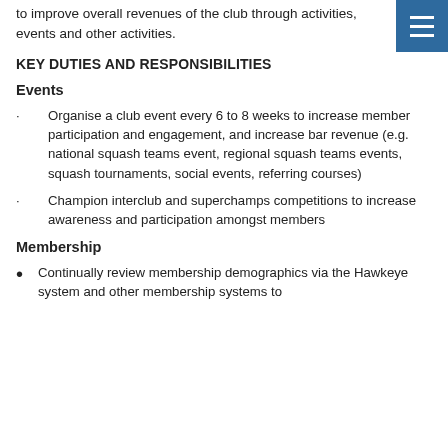to improve overall revenues of the club through activities, events and other activities.
KEY DUTIES AND RESPONSIBILITIES
Events
Organise a club event every 6 to 8 weeks to increase member participation and engagement, and increase bar revenue (e.g. national squash teams event, regional squash teams events, squash tournaments, social events, referring courses)
Champion interclub and superchamps competitions to increase awareness and participation amongst members
Membership
Continually review membership demographics via the Hawkeye system and other membership systems to